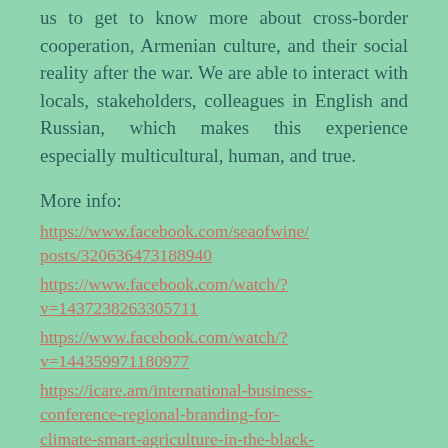us to get to know more about cross-border cooperation, Armenian culture, and their social reality after the war. We are able to interact with locals, stakeholders, colleagues in English and Russian, which makes this experience especially multicultural, human, and true.
More info:
https://www.facebook.com/seaofwine/posts/320636473188940
https://www.facebook.com/watch/?v=1437238263305711
https://www.facebook.com/watch/?v=144359971180977
https://icare.am/international-business-conference-regional-branding-for-climate-smart-agriculture-in-the-black-